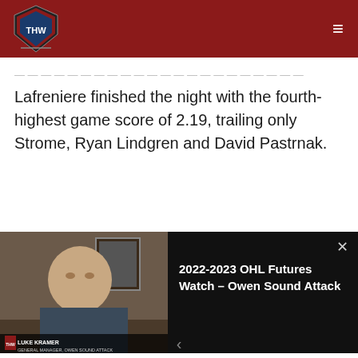THW - The Hockey Writers
Lafreniere finished the night with the fourth-highest game score of 2.19, trailing only Strome, Ryan Lindgren and David Pastrnak.
[Figure (screenshot): Embedded video widget showing a man being interviewed, with title '2022-2023 OHL Futures Watch – Owen Sound Attack' and a close button (×) in the upper right corner.]